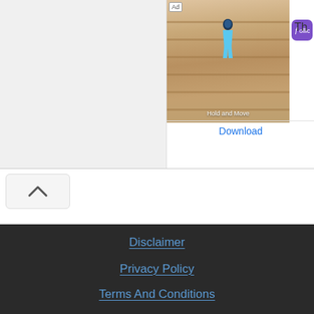[Figure (screenshot): Mobile ad banner showing a game screenshot with 'Hold and Move' text and Follic app icon with Download button]
[Figure (screenshot): Collapse/chevron up button UI element]
Disclaimer
Privacy Policy
Terms And Conditions
All Right Reserved Microblife.in
[Figure (photo): Two thumbnail images at bottom: left shows brown/rust colored rocky or wood chip texture, right shows glowing lamp with swirling pattern and orange coffee cup icon overlay]